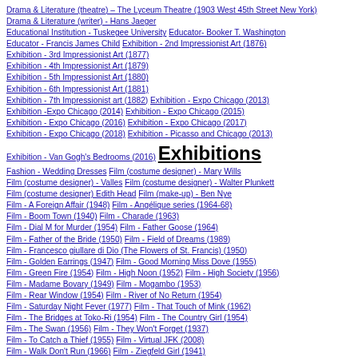Drama & Literature (theatre) – The Lyceum Theatre (1903 West 45th Street New York)
Drama & Literature (writer) - Hans Jaeger
Educational Institution - Tuskegee University   Educator- Booker T. Washington
Educator - Francis James Child   Exhibition - 2nd Impressionist Art (1876)
Exhibition - 3rd Impressionist Art (1877)
Exhibition - 4th Impressionist Art (1879)
Exhibition - 5th Impressionist Art (1880)
Exhibition - 6th Impressionist Art (1881)
Exhibition - 7th Impressionist art (1882)   Exhibition - Expo Chicago (2013)
Exhibition -Expo Chicago (2014)   Exhibition - Expo Chicago (2015)
Exhibition - Expo Chicago (2016)   Exhibition - Expo Chicago (2017)
Exhibition - Expo Chicago (2018)   Exhibition - Picasso and Chicago (2013)
Exhibition - Van Gogh's Bedrooms (2016)   Exhibitions
Fashion - Wedding Dresses   Film (costume designer) - Mary Wills
Film (costume designer) - Valles   Film (costume designer) - Walter Plunkett
Film (costume designer) Edith Head   Film (make-up) - Ben Nye
Film - A Foreign Affair (1948)   Film - Angélique series (1964-68)
Film - Boom Town (1940)   Film - Charade (1963)
Film - Dial M for Murder (1954)   Film - Father Goose (1964)
Film - Father of the Bride (1950)   Film - Field of Dreams (1989)
Film - Francesco giullare di Dio (The Flowers of St. Francis) (1950)
Film - Golden Earrings (1947)   Film - Good Morning Miss Dove (1955)
Film - Green Fire (1954)   Film - High Noon (1952)   Film - High Society (1956)
Film - Madame Bovary (1949)   Film - Mogambo (1953)
Film - Rear Window (1954)   Film - River of No Return (1954)
Film - Saturday Night Fever (1977)   Film - That Touch of Mink (1962)
Film - The Bridges at Toko-Ri (1954)   Film - The Country Girl (1954)
Film - The Swan (1956)   Film - They Won't Forget (1937)
Film - To Catch a Thief (1955)   Film - Virtual JFK (2008)
Film - Walk Don't Run (1966)   Film - Ziegfeld Girl (1941)
Film Director - Alfred Hitchcock   Film Director - Bernard Borderie